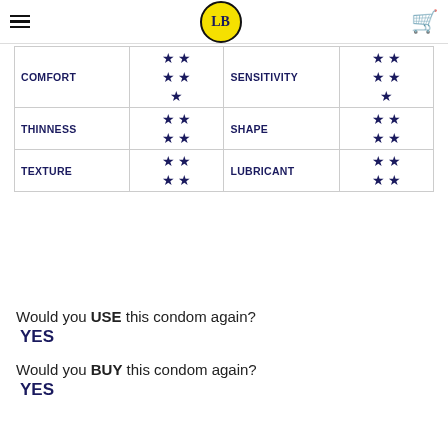LB logo with hamburger menu and cart icon
| Category | Stars | Category | Stars |
| --- | --- | --- | --- |
| COMFORT | ★ ★ / ★ ★ / ★ | SENSITIVITY | ★ ★ / ★ ★ / ★ |
| THINNESS | ★ ★ / ★ ★ | SHAPE | ★ ★ / ★ ★ |
| TEXTURE | ★ ★ / ★ ★ | LUBRICANT | ★ ★ / ★ ★ |
Would you USE this condom again?
YES
Would you BUY this condom again?
YES